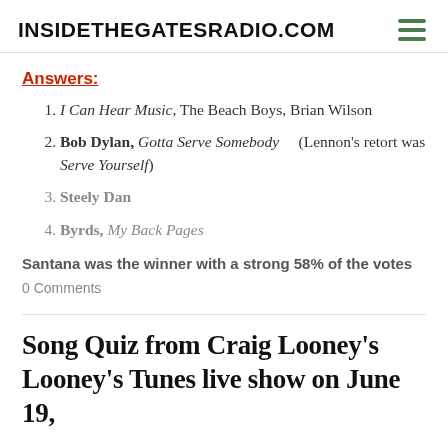INSIDETHEGATESRADIO.COM
Answers:
I Can Hear Music, The Beach Boys, Brian Wilson
Bob Dylan, Gotta Serve Somebody    (Lennon's retort was Serve Yourself)
Steely Dan
Byrds, My Back Pages
Santana was the winner with a strong 58% of the votes
0 Comments
Song Quiz from Craig Looney's Looney's Tunes live show on June 19,